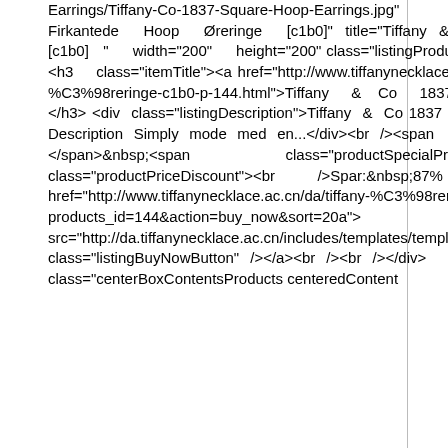Earrings/Tiffany-Co-1837-Square-Hoop-Earrings.jpg"  alt="Tiffany & Co 1837 Firkantede Hoop Øreringe [c1b0]" title="Tiffany & Co 1837 Firkantede Hoop Øreringe [c1b0]  " width="200" height="200" class="listingProductImage" id="listimg" /></div></a><br /><h3 class="itemTitle"><a href="http://www.tiffanynecklace.ac.cn/da/tiffany-co-1837-firkantede-hoop-%C3%98reringe-c1b0-p-144.html">Tiffany & Co 1837 Firkantede Hoop Øreringe [c1b0]</a></h3><div class="listingDescription">Tiffany & Co 1837 Square Hoop Øreringe Sale Description Simply mode med en...</div><br /><span class="normalprice">DKK  2,878 </span>&nbsp;<span class="productSpecialPrice">DKK 388</span><span class="productPriceDiscount"><br />Spar:&nbsp;87% off</span><br /><br /><a href="http://www.tiffanynecklace.ac.cn/da/tiffany-%C3%98reringe-c-3.html?products_id=144&action=buy_now&sort=20a"><img src="http://da.tiffanynecklace.ac.cn/includes/templates/templa alt="Buy Now" title=" Buy Now  " class="listingBuyNowButton" /></a><br /><br /></div>  <br class="clearBoth" /><div class="centerBoxContentsProducts centeredContent  back"